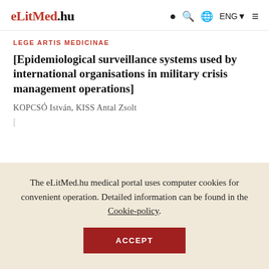eLitMed.hu  ENG
LEGE ARTIS MEDICINAE
[Epidemiological surveillance systems used by international organisations in military crisis management operations]
KOPCSÓ István, KISS Antal Zsolt
The eLitMed.hu medical portal uses computer cookies for convenient operation. Detailed information can be found in the Cookie-policy.
ACCEPT